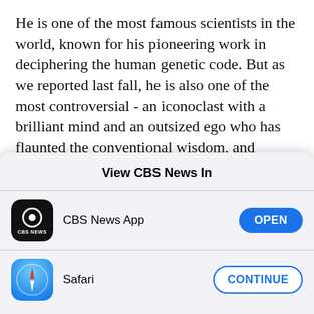He is one of the most famous scientists in the world, known for his pioneering work in deciphering the human genetic code. But as we reported last fall, he is also one of the most controversial - an iconoclast with a brilliant mind and an outsized ego who has flaunted the conventional wisdom, and tweaked the staid scientific establishment at every turn.
You don't have to spend much time with Venter to
View CBS News In
CBS News App — OPEN
Safari — CONTINUE